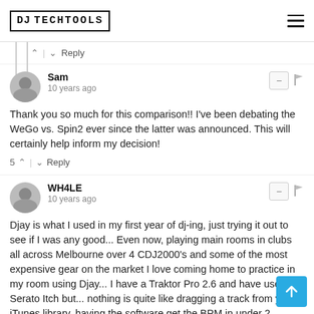DJ TECHTOOLS
Reply
Sam
10 years ago
Thank you so much for this comparison!! I've been debating the WeGo vs. Spin2 ever since the latter was announced. This will certainly help inform my decision!
5 Reply
WH4LE
10 years ago
Djay is what I used in my first year of dj-ing, just trying it out to see if I was any good... Even now, playing main rooms in clubs all across Melbourne over 4 CDJ2000's and some of the most expensive gear on the market I love coming home to practice in my room using Djay... I have a Traktor Pro 2.6 and have used Serato Itch but... nothing is quite like dragging a track from your iTunes library, having the software get the BPM in under 2 seconds (and is one of the most accurate that I've found)